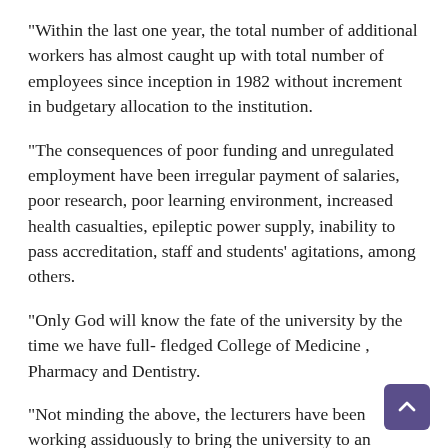“Within the last one year, the total number of additional workers has almost caught up with total number of employees since inception in 1982 without increment in budgetary allocation to the institution.
“The consequences of poor funding and unregulated employment have been irregular payment of salaries, poor research, poor learning environment, increased health casualties, epileptic power supply, inability to pass accreditation, staff and students’ agitations, among others.
“Only God will know the fate of the university by the time we have full- fledged College of Medicine , Pharmacy and Dentistry.
“Not minding the above, the lecturers have been working assiduously to bring the university to an enviable world class standard by all known means, a mission seemingly impossible except by a faithless faith”